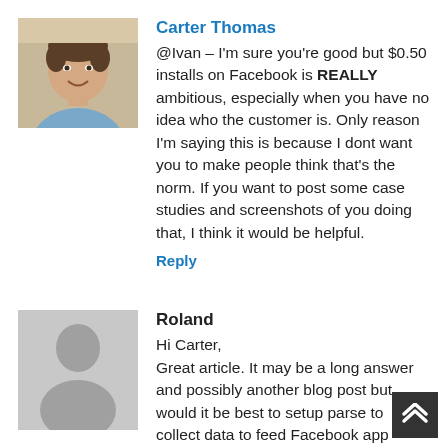[Figure (photo): Profile photo of Carter Thomas, a man in a blue shirt, smiling]
Carter Thomas
@Ivan – I'm sure you're good but $0.50 installs on Facebook is REALLY ambitious, especially when you have no idea who the customer is. Only reason I'm saying this is because I dont want you to make people think that's the norm. If you want to post some case studies and screenshots of you doing that, I think it would be helpful.
Reply
[Figure (illustration): Generic grey placeholder avatar silhouette for Roland]
Roland
Hi Carter,
Great article. It may be a long answer and possibly another blog post but would it be best to setup parse to collect data to feed Facebook app